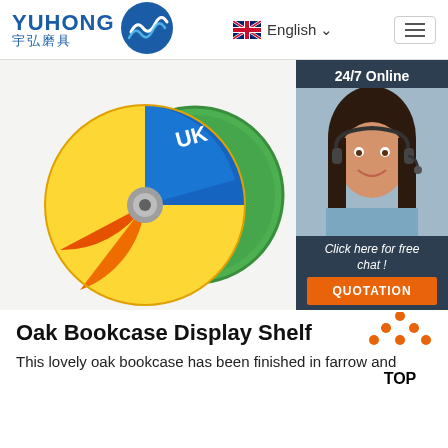YUHONG 宇弘磨具 | English
[Figure (photo): Two abrasive grinding/cutting discs — one with yellow and blue label (UX brand) and one solid green disc — on a light background. A sidebar shows a customer service woman with headset and '24/7 Online', 'Click here for free chat!', and 'QUOTATION' button.]
Oak Bookcase Display Shelf
This lovely oak bookcase has been finished in farrow and